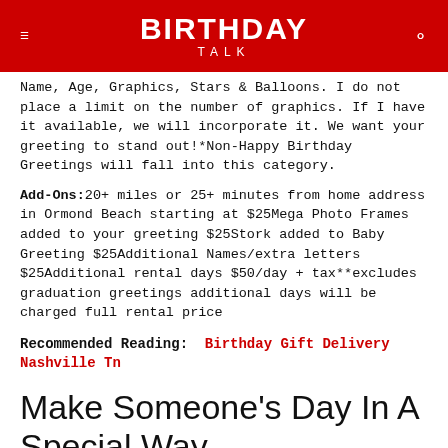BIRTHDAY TALK
Name, Age, Graphics, Stars & Balloons. I do not place a limit on the number of graphics. If I have it available, we will incorporate it. We want your greeting to stand out!*Non-Happy Birthday Greetings will fall into this category.
Add-Ons:20+ miles or 25+ minutes from home address in Ormond Beach starting at $25Mega Photo Frames added to your greeting $25Stork added to Baby Greeting $25Additional Names/extra letters $25Additional rental days $50/day + tax**excludes graduation greetings additional days will be charged full rental price
Recommended Reading: Birthday Gift Delivery Nashville Tn
Make Someone’s Day In A Special Way